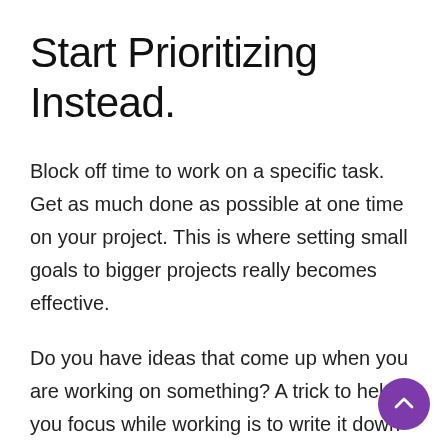Start Prioritizing Instead.
Block off time to work on a specific task. Get as much done as possible at one time on your project. This is where setting small goals to bigger projects really becomes effective.
Do you have ideas that come up when you are working on something? A trick to help you focus while working is to write it down while you are working on the task at hand. Look at your list when you are finished with what you were